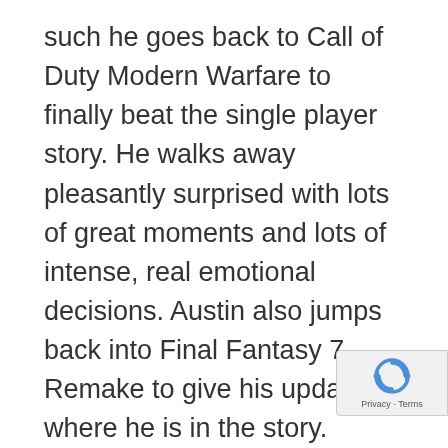such he goes back to Call of Duty Modern Warfare to finally beat the single player story. He walks away pleasantly surprised with lots of great moments and lots of intense, real emotional decisions. Austin also jumps back into Final Fantasy 7 Remake to give his update on where he is in the story.
In the news, Project Cars 3 gets revealed via a trailer. It looks a lot like Need for Speed now! Kojima had a project canceled but fear not, he's working on something else. Sony announces Game Gear Micro and Dice wraps up their final content for Battlefield V. We also go down a tangent about gaming a adult and how different people play different
[Figure (other): reCAPTCHA logo overlay with Privacy and Terms links in bottom-right corner]